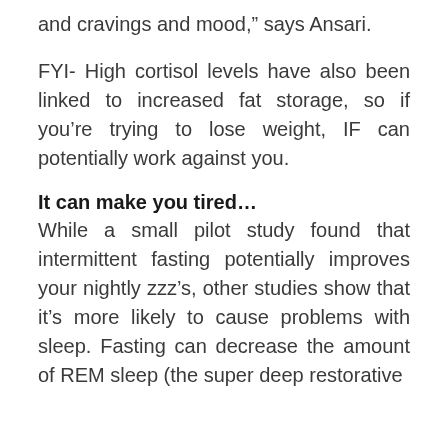and cravings and mood,” says Ansari.
FYI- High cortisol levels have also been linked to increased fat storage, so if you’re trying to lose weight, IF can potentially work against you.
It can make you tired…
While a small pilot study found that intermittent fasting potentially improves your nightly zzz’s, other studies show that it’s more likely to cause problems with sleep. Fasting can decrease the amount of REM sleep (the super deep restorative